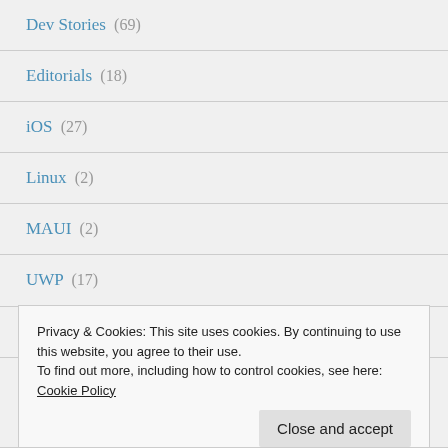Dev Stories (69)
Editorials (18)
iOS (27)
Linux (2)
MAUI (2)
UWP (17)
Xamarin (47)
Privacy & Cookies: This site uses cookies. By continuing to use this website, you agree to their use. To find out more, including how to control cookies, see here: Cookie Policy
Close and accept